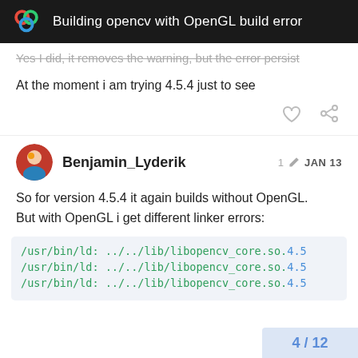Building opencv with OpenGL build error
Yes I did, it removes the warning, but the error persist
At the moment i am trying 4.5.4 just to see
Benjamin_Lyderik  1  JAN 13
So for version 4.5.4 it again builds without OpenGL. But with OpenGL i get different linker errors:
/usr/bin/ld: ../../lib/libopencv_core.so.4.5
/usr/bin/ld: ../../lib/libopencv_core.so.4.5
/usr/bin/ld: ../../lib/libopencv_core.so.4.5
4 / 12